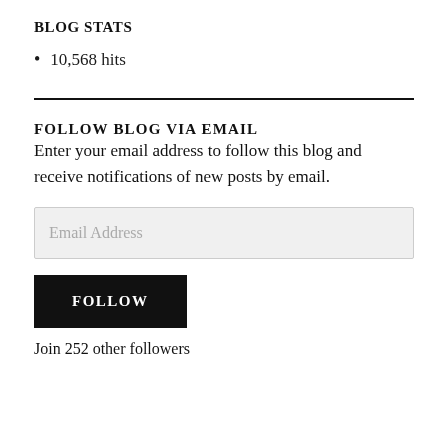BLOG STATS
10,568 hits
FOLLOW BLOG VIA EMAIL
Enter your email address to follow this blog and receive notifications of new posts by email.
Email Address
FOLLOW
Join 252 other followers